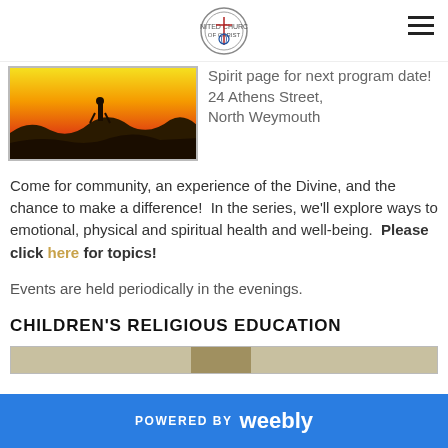[Church logo and navigation]
[Figure (photo): Silhouette of a person standing on a ridge against a vivid sunset sky with orange, yellow, and red colors and dark mountain ridges below]
Spirit page for next program date! 24 Athens Street, North Weymouth
Come for community, an experience of the Divine, and the chance to make a difference!  In the series, we'll explore ways to emotional, physical and spiritual health and well-being.  Please click here for topics!
Events are held periodically in the evenings.
CHILDREN'S RELIGIOUS EDUCATION
[Figure (photo): Partial view of a children's religious education image, cropped at bottom of page]
POWERED BY weebly